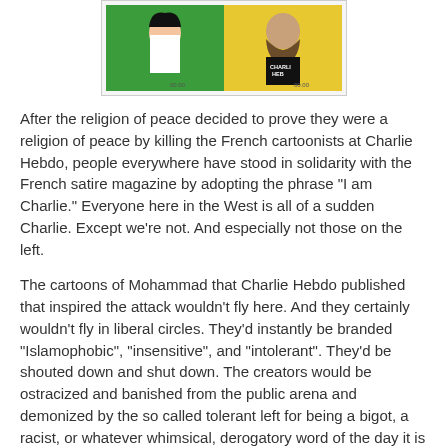[Figure (illustration): Two comic-style panels side by side in a bordered frame. Left panel has a green background with a cartoon figure. Right panel has a yellow background with a cartoon figure wearing a Charlie Hebdo shirt.]
After the religion of peace decided to prove they were a religion of peace by killing the French cartoonists at Charlie Hebdo, people everywhere have stood in solidarity with the French satire magazine by adopting the phrase "I am Charlie." Everyone here in the West is all of a sudden Charlie. Except we're not. And especially not those on the left.
The cartoons of Mohammad that Charlie Hebdo published that inspired the attack wouldn't fly here. And they certainly wouldn't fly in liberal circles. They'd instantly be branded "Islamophobic", "insensitive", and "intolerant". They'd be shouted down and shut down. The creators would be ostracized and banished from the public arena and demonized by the so called tolerant left for being a bigot, a racist, or whatever whimsical, derogatory word of the day it is the liberals feel like using. They wouldn't pull the trigger on a